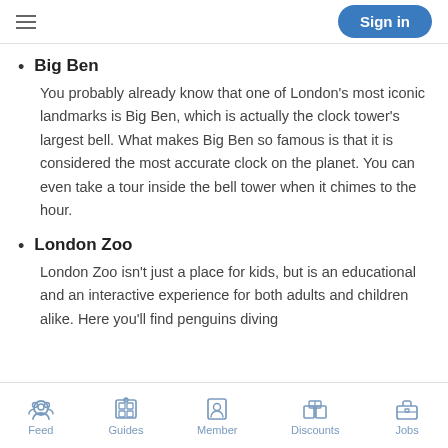Sign in
Big Ben — You probably already know that one of London's most iconic landmarks is Big Ben, which is actually the clock tower's largest bell. What makes Big Ben so famous is that it is considered the most accurate clock on the planet. You can even take a tour inside the bell tower when it chimes to the hour.
London Zoo — London Zoo isn't just a place for kids, but is an educational and an interactive experience for both adults and children alike. Here you'll find penguins diving
Feed | Guides | Member | Discounts | Jobs